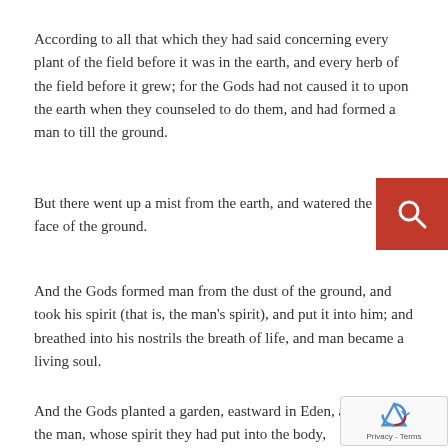According to all that which they had said concerning every plant of the field before it was in the earth, and every herb of the field before it grew; for the Gods had not caused it to upon the earth when they counseled to do them, and had formed a man to till the ground.
But there went up a mist from the earth, and watered the whole face of the ground.
And the Gods formed man from the dust of the ground, and took his spirit (that is, the man's spirit), and put it into him; and breathed into his nostrils the breath of life, and man became a living soul.
And the Gods planted a garden, eastward in Eden, and they put the man, whose spirit they had put into the body,